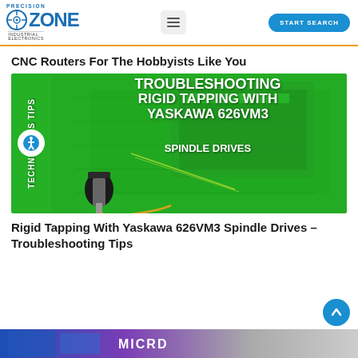PRECISION ZONE INDUSTRIAL ELECTRONICS | START SEARCH
CNC Routers For The Hobbyists Like You
[Figure (photo): Thumbnail image with green background showing a CNC spindle tool and electronic drive unit. Text overlay reads: TECHNICIAN'S TIPS / TROUBLESHOOTING / RIGID TAPPING WITH / YASKAWA 626VM3 / SPINDLE DRIVES]
Rigid Tapping With Yaskawa 626VM3 Spindle Drives – Troubleshooting Tips
[Figure (photo): Partial bottom banner image in blue-purple gradient colors, partially visible]